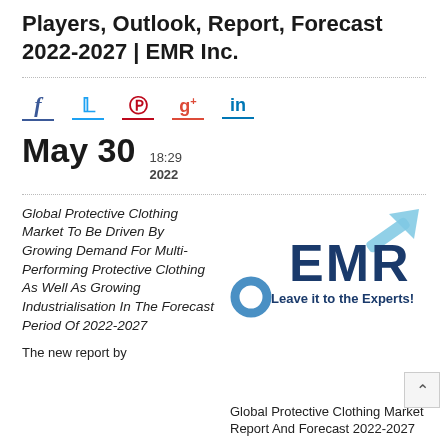Players, Outlook, Report, Forecast 2022-2027 | EMR Inc.
[Figure (other): Social media sharing icons: Facebook (f), Twitter (bird), Pinterest (P), Google+ (g+), LinkedIn (in) each with a colored underline]
May 30  18:29  2022
Global Protective Clothing Market To Be Driven By Growing Demand For Multi-Performing Protective Clothing As Well As Growing Industrialisation In The Forecast Period Of 2022-2027
[Figure (logo): EMR Inc. logo: dark blue bold letters EMR with a light blue arrow pointing up-right and a circular icon, tagline: Leave it to the Experts!]
The new report by
Global Protective Clothing Market Report And Forecast 2022-2027